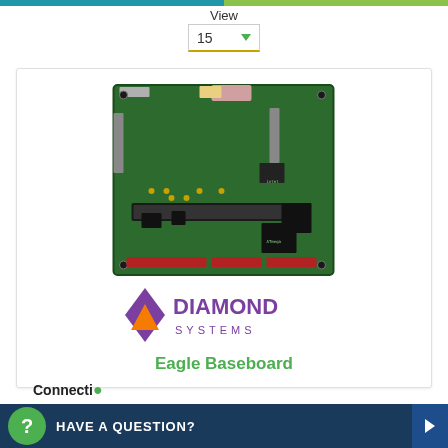View
15
[Figure (photo): Green circuit board / PCB (Eagle Baseboard) showing various electronic components, connectors, chips, and edge connectors on a green substrate.]
[Figure (logo): Diamond Systems logo: purple diamond shape with orange triangle inside, followed by text 'DIAMOND SYSTEMS' in purple and spaced letters.]
Eagle Baseboard
Connecti...
1 x USB 1 x...
HAVE A QUESTION?